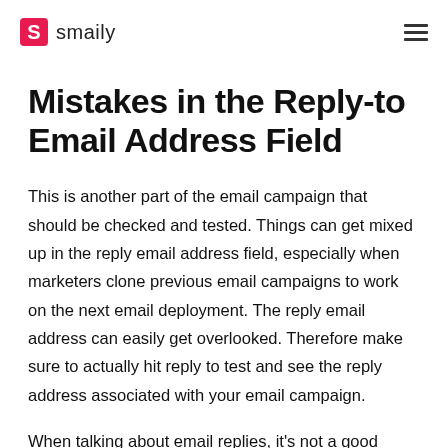smaily
Mistakes in the Reply-to Email Address Field
This is another part of the email campaign that should be checked and tested. Things can get mixed up in the reply email address field, especially when marketers clone previous email campaigns to work on the next email deployment. The reply email address can easily get overlooked. Therefore make sure to actually hit reply to test and see the reply address associated with your email campaign.
When talking about email replies, it's not a good practice